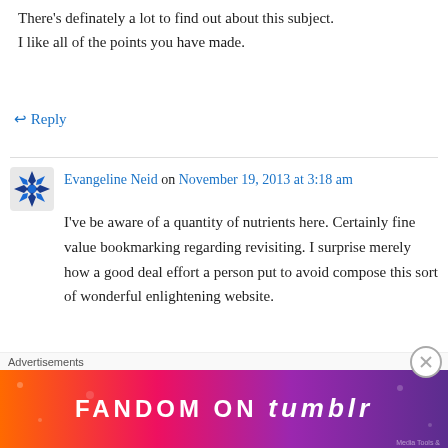There's definately a lot to find out about this subject. I like all of the points you have made.
↵ Reply
Evangeline Neid on November 19, 2013 at 3:18 am
I've be aware of a quantity of nutrients here. Certainly fine value bookmarking regarding revisiting. I surprise merely how a good deal effort a person put to avoid compose this sort of wonderful enlightening website.
↵ Reply
Advertisements
[Figure (illustration): Fandom on Tumblr advertisement banner with colorful gradient background (orange to purple) and bold white text reading FANDOM ON tumblr]